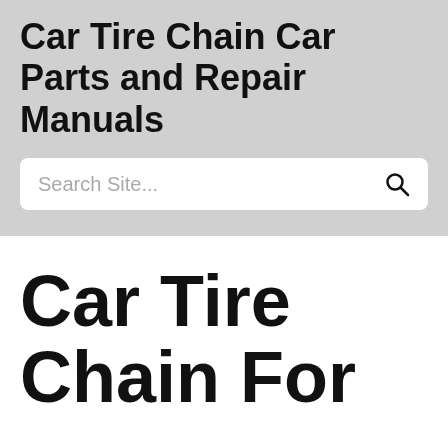Car Tire Chain Car Parts and Repair Manuals
Search Site...
Car Tire Chain For